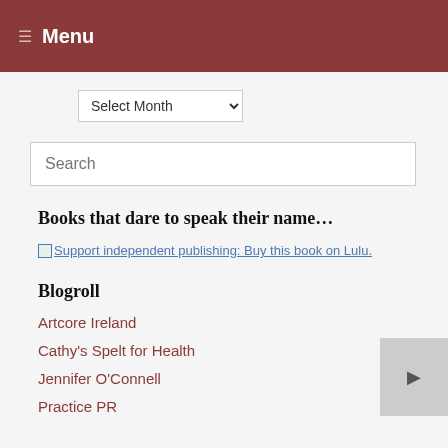☰ Menu
Select Month
Search
Books that dare to speak their name…
Support independent publishing: Buy this book on Lulu.
Blogroll
Artcore Ireland
Cathy's Spelt for Health
Jennifer O'Connell
Practice PR